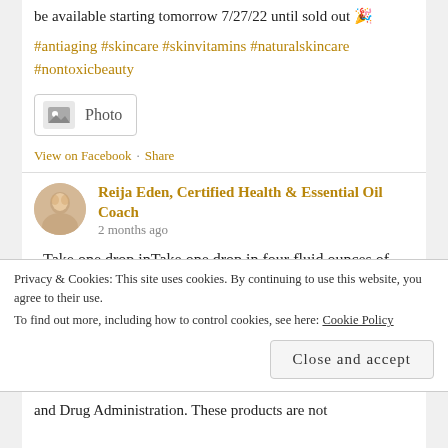be available starting tomorrow 7/27/22 until sold out 🎉
#antiaging #skincare #skinvitamins #naturalskincare #nontoxicbeauty
[Figure (other): Photo attachment placeholder box with image icon and 'Photo' label]
View on Facebook · Share
Reija Eden, Certified Health & Essential Oil Coach
2 months ago
- Take one drop inTake one drop in four fluid ounces of liquid daily
- Add one to two drops to a veggie capsule to support
Privacy & Cookies: This site uses cookies. By continuing to use this website, you agree to their use.
To find out more, including how to control cookies, see here: Cookie Policy
Close and accept
and Drug Administration. These products are not